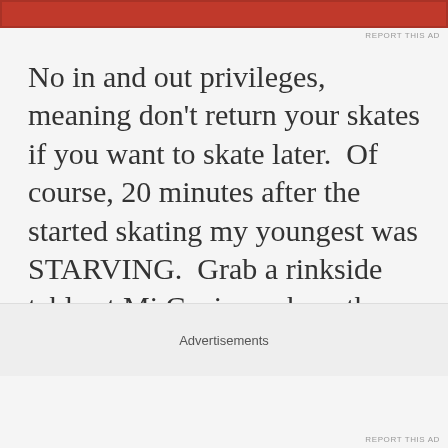[Figure (other): Red advertisement banner at top of page]
REPORT THIS AD
No in and out privileges, meaning don't return your skates if you want to skate later.  Of course, 20 minutes after the started skating my youngest was STARVING.  Grab a rinkside table at Mi Cocina, where they can eat and return to skating when they are done, plus you can watch them skate while drinking... something
Advertisements
REPORT THIS AD